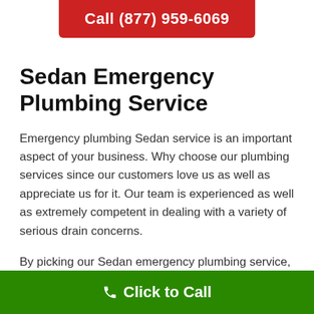Call (877) 959-6069
Sedan Emergency Plumbing Service
Emergency plumbing Sedan service is an important aspect of your business. Why choose our plumbing services since our customers love us as well as appreciate us for it. Our team is experienced as well as extremely competent in dealing with a variety of serious drain concerns.
By picking our Sedan emergency plumbing service, you are getting excellent professional plumbing services at affordable prices, which are ensured. We offer a full variety of plumbing services including all main kinds of
Click to Call